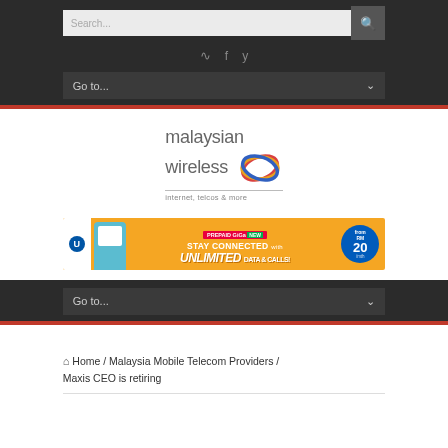Search... [search icon]
RSS / Facebook / Twitter social icons
Go to... [dropdown]
[Figure (logo): Malaysian Wireless logo — text 'malaysian wireless' with colorful swoosh graphic and tagline 'internet, telcos & more']
[Figure (infographic): Celcom Prepaid GiGa NEW banner ad: Stay Connected with UNLIMITED DATA & CALLS from RM20/month, featuring a man in teal jacket]
Go to... [second navigation dropdown]
Home / Malaysia Mobile Telecom Providers / Maxis CEO is retiring